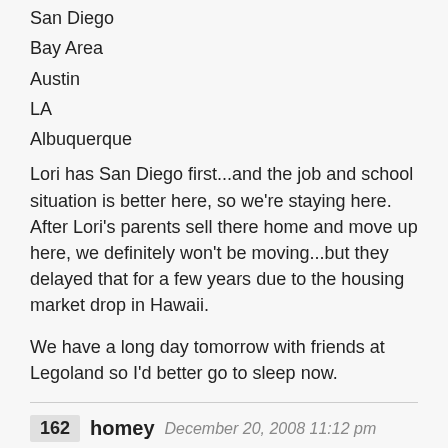San Diego
Bay Area
Austin
LA
Albuquerque
Lori has San Diego first...and the job and school situation is better here, so we’re staying here. After Lori’s parents sell there home and move up here, we definitely won’t be moving...but they delayed that for a few years due to the housing market drop in Hawaii.
We have a long day tomorrow with friends at Legoland so I’d better go to sleep now.
162 homey December 20, 2008 11:12 pm
Garret – What if Te’o’s future team is not Notre Dame then Protector can still boo. Maybe BYU?